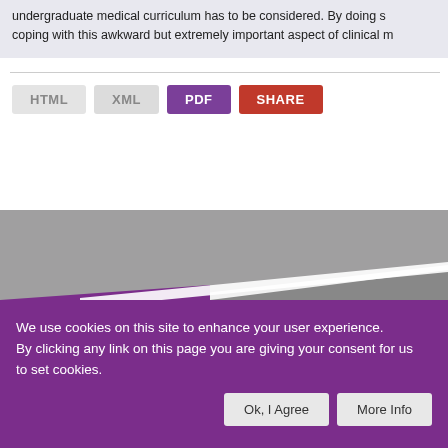undergraduate medical curriculum has to be considered. By doing so coping with this awkward but extremely important aspect of clinical m
HTML  XML  PDF  SHARE
[Figure (illustration): Abstract graphic with grey background and purple/grey angular shapes forming a decorative banner]
We use cookies on this site to enhance your user experience. By clicking any link on this page you are giving your consent for us to set cookies.
Ok, I Agree  More Info